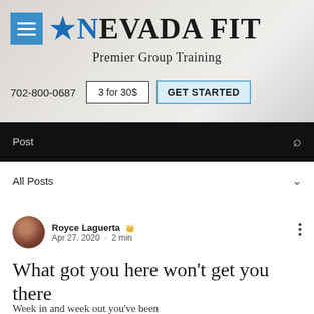[Figure (screenshot): Nevada Fit website header with blue hamburger menu icon, 'Nevada Fit' logo, 'Premier Group Training' tagline, phone number 702-800-0687, '3 for 30$' button, 'GET STARTED' button, black navigation bar with 'Post' label and search icon, 'All Posts' dropdown, blog post by Royce Laguerta dated Apr 27, 2020 · 2 min, title 'What got you here won't get you there', and beginning of excerpt text.]
Nevada Fit – Premier Group Training
702-800-0687
3 for 30$
GET STARTED
Post
All Posts
Royce Laguerta
Apr 27, 2020 · 2 min
What got you here won't get you there
Week in and week out you've been